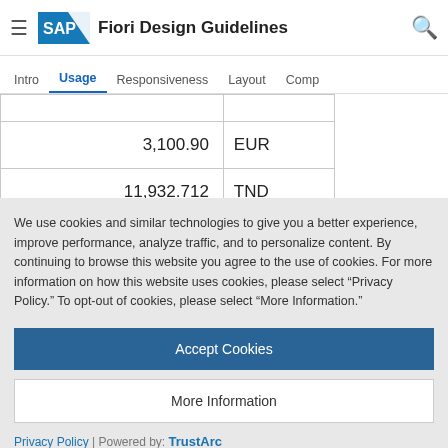SAP Fiori Design Guidelines
Intro | Usage | Responsiveness | Layout | Comp
| 3,100.90 | EUR |
| 11,932.712 | TND |
| 39,392 | JPY |
We use cookies and similar technologies to give you a better experience, improve performance, analyze traffic, and to personalize content. By continuing to browse this website you agree to the use of cookies. For more information on how this website uses cookies, please select “Privacy Policy.” To opt-out of cookies, please select “More Information.”
Accept Cookies
More Information
Privacy Policy | Powered by: TrustArc